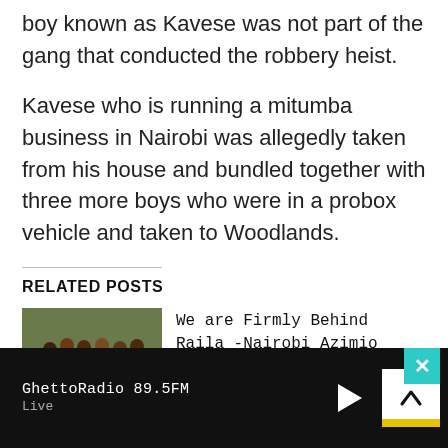boy known as Kavese was not part of the gang that conducted the robbery heist.
Kavese who is running a mitumba business in Nairobi was allegedly taken from his house and bundled together with three more boys who were in a probox vehicle and taken to Woodlands.
RELATED POSTS
[Figure (photo): Group of people standing together outdoors]
We are Firmly Behind Raila -Nairobi Azimio MCAs Tells-Off...
GhettoRadio 89.5FM
Live